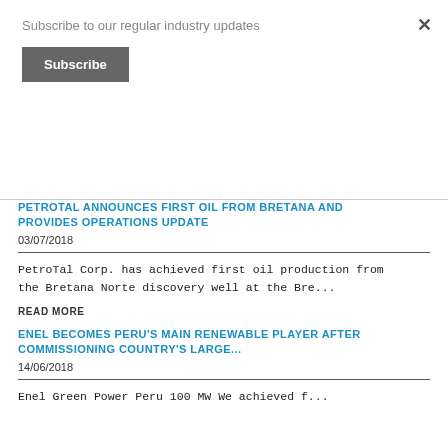Subscribe to our regular industry updates
Subscribe
×
PETROTAL ANNOUNCES FIRST OIL FROM BRETANA AND PROVIDES OPERATIONS UPDATE
03/07/2018
PetroTal Corp. has achieved first oil production from the Bretana Norte discovery well at the Bre...
READ MORE
ENEL BECOMES PERU'S MAIN RENEWABLE PLAYER AFTER COMMISSIONING COUNTRY'S LARGE...
14/06/2018
Enel Green Power Peru 100 MW We achieved f...